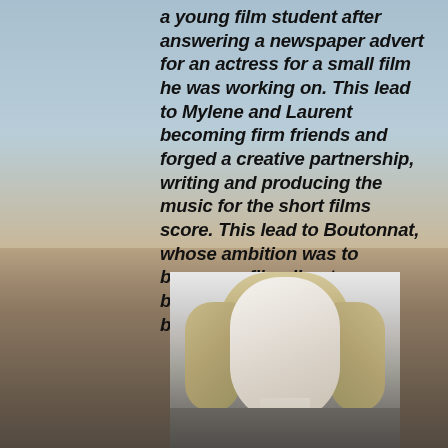a young film student after answering a newspaper advert for an actress for a small film he was working on. This lead to Mylene and Laurent becoming firm friends and forged a creative partnership, writing and producing the music for the short films score. This lead to Boutonnat, whose ambition was to become a film director, became the creative force behind Farmer's videos.
[Figure (photo): Black and white portrait photograph of a woman with curled blonde hair styled in a 1940s/1950s fashion, looking slightly to the side with a composed expression.]